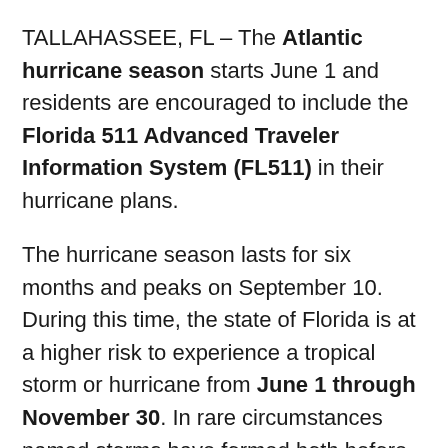TALLAHASSEE, FL – The Atlantic hurricane season starts June 1 and residents are encouraged to include the Florida 511 Advanced Traveler Information System (FL511) in their hurricane plans.
The hurricane season lasts for six months and peaks on September 10. During this time, the state of Florida is at a higher risk to experience a tropical storm or hurricane from June 1 through November 30. In rare circumstances named storms have formed both before and after the official season dates.
The 2021 Atlantic hurricane season was the